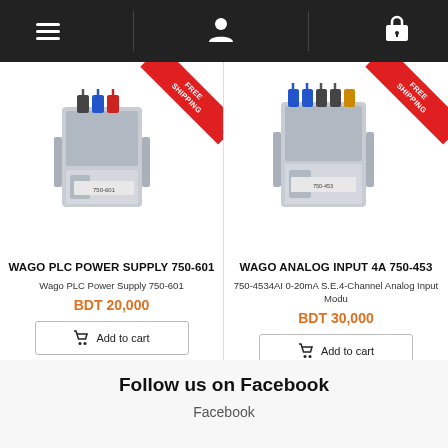Navigation bar with menu, account, and cart icons
[Figure (photo): WAGO PLC Power Supply 750-601 product image with FREE SHIPPING ribbon]
WAGO PLC POWER SUPPLY 750-601
Wago PLC Power Supply 750-601
BDT 20,000
Add to cart
[Figure (photo): WAGO Analog Input 4A 750-453 product image with FREE SHIPPING ribbon]
WAGO ANALOG INPUT 4A 750-453
750-4534AI 0-20mA S.E.4-Channel Analog Input Modu
BDT 30,000
Add to cart
Follow us on Facebook
Facebook